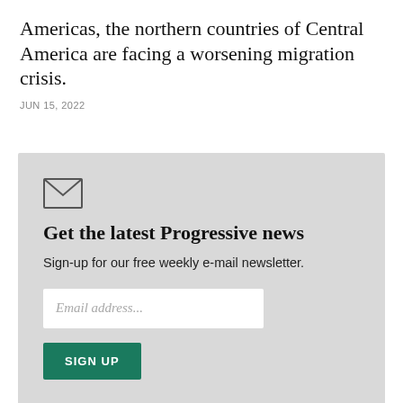Americas, the northern countries of Central America are facing a worsening migration crisis.
JUN 15, 2022
[Figure (illustration): Envelope/mail icon]
Get the latest Progressive news
Sign-up for our free weekly e-mail newsletter.
Email address...
SIGN UP